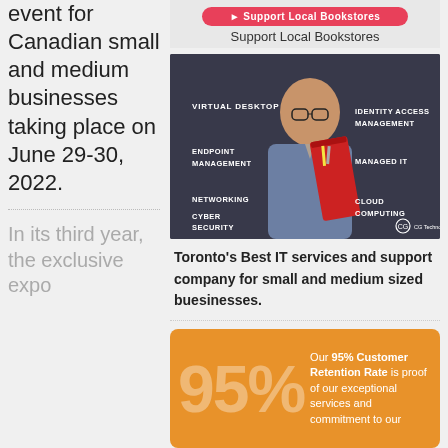event for Canadian small and medium businesses taking place on June 29-30, 2022.
In its third year, the exclusive expo
[Figure (infographic): Pink/red rounded button at top (Support Local Bookstores), then a dark background photo of a man in glasses holding a red folder with IT service labels: Virtual Desktop, Identity Access Management, Endpoint Management, Managed IT, Networking, Cloud Computing, Cyber Security. CG Technologies logo bottom right.]
Toronto's Best IT services and support company for small and medium sized buesinesses.
[Figure (infographic): Orange rounded box with large translucent '95%' text on left and text on right: 'Our 95% Customer Retention Rate is proof of our exceptional services and commitment to our']